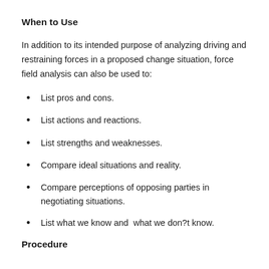When to Use
In addition to its intended purpose of analyzing driving and restraining forces in a proposed change situation, force field analysis can also be used to:
List pros and cons.
List actions and reactions.
List strengths and weaknesses.
Compare ideal situations and reality.
Compare perceptions of opposing parties in negotiating situations.
List what we know and  what we don?t know.
Procedure